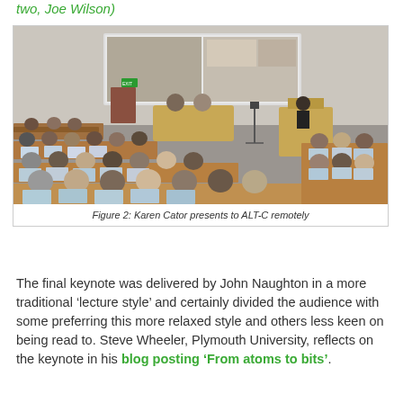two, Joe Wilson)
[Figure (photo): Lecture hall with audience members sitting in tiered rows with laptops open, facing a presenter at a podium. A large projection screen at the front shows a video conference interface. The scene appears to be a conference presentation.]
Figure 2: Karen Cator presents to ALT-C remotely
The final keynote was delivered by John Naughton in a more traditional ‘lecture style’ and certainly divided the audience with some preferring this more relaxed style and others less keen on being read to. Steve Wheeler, Plymouth University, reflects on the keynote in his blog posting ‘From atoms to bits’.